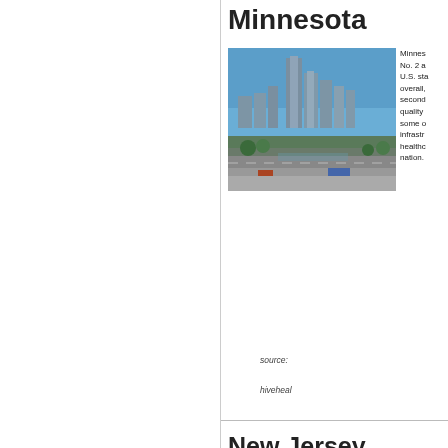Minnesota
[Figure (photo): Aerial/street-level photo of Minneapolis, Minnesota skyline showing tall glass skyscrapers against a blue sky with highway and greenery below]
Minnesota ranked No. 2 among all U.S. states overall, finishing second in quality of life, some of the best infrastructure, healthcare in the nation.
source:
hiveheal
New Jersey
[Figure (map): Map of New Jersey showing county boundaries with surrounding water bodies highlighted in blue]
These A 100 Ri